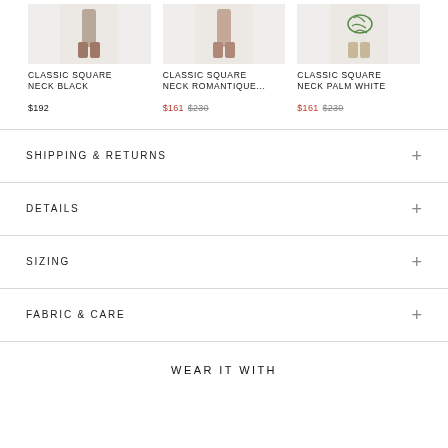[Figure (photo): Product thumbnail - Classic Square Neck Black swimsuit]
CLASSIC SQUARE NECK BLACK
$192
[Figure (photo): Product thumbnail - Classic Square Neck Romantique swimsuit]
CLASSIC SQUARE NECK ROMANTIQUE...
$161 $230
[Figure (photo): Product thumbnail - Classic Square Neck Palm White swimsuit with green palm leaf print]
CLASSIC SQUARE NECK PALM WHITE
$161 $230
SHIPPING & RETURNS
DETAILS
SIZING
FABRIC & CARE
WEAR IT WITH